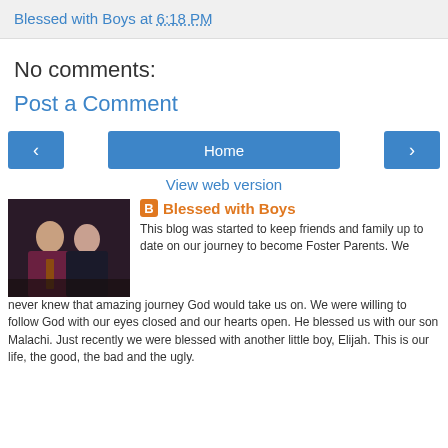Blessed with Boys at 6:18 PM
No comments:
Post a Comment
[Figure (other): Navigation buttons: left arrow, Home, right arrow]
View web version
[Figure (photo): Photo of two people, a man in a dark jacket and a woman]
Blessed with Boys
This blog was started to keep friends and family up to date on our journey to become Foster Parents. We never knew that amazing journey God would take us on. We were willing to follow God with our eyes closed and our hearts open. He blessed us with our son Malachi. Just recently we were blessed with another little boy, Elijah. This is our life, the good, the bad and the ugly.